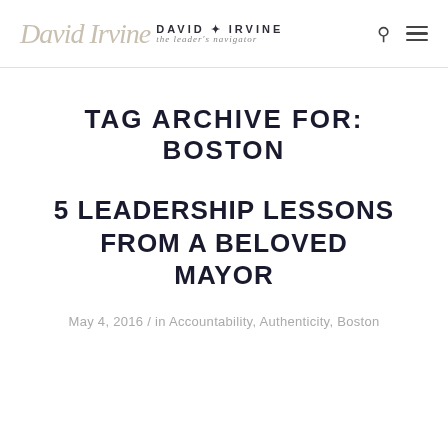David Irvine — the leader's navigator
TAG ARCHIVE FOR: BOSTON
5 LEADERSHIP LESSONS FROM A BELOVED MAYOR
May 4, 2016 / in Accountability, Authenticity, Boston